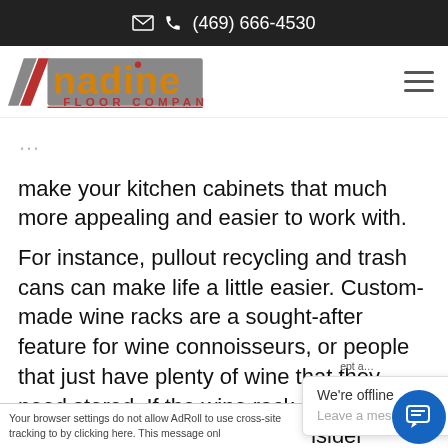✉  ☎ (469) 666-4530
[Figure (logo): Nadine Floor Company logo with stylized N and red/gold diagonal stripes]
make your kitchen cabinets that much more appealing and easier to work with.
For instance, pullout recycling and trash cans can make life a little easier. Custom-made wine racks are a sought-after feature for wine connoisseurs, or people that just have plenty of wine that they need stored. If the wine rack is something you would like to show off, consider covering the cabinet with a glass panel so people can see
Your browser settings do not allow AdRoll to use cross-site tracking to by clicking here. This message onl
We're offline
Leave a message